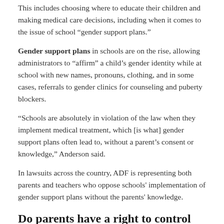This includes choosing where to educate their children and making medical care decisions, including when it comes to the issue of school “gender support plans.”
Gender support plans in schools are on the rise, allowing administrators to “affirm” a child’s gender identity while at school with new names, pronouns, clothing, and in some cases, referrals to gender clinics for counseling and puberty blockers.
“Schools are absolutely in violation of the law when they implement medical treatment, which [is what] gender support plans often lead to, without a parent’s consent or knowledge,” Anderson said.
In lawsuits across the country, ADF is representing both parents and teachers who oppose schools' implementation of gender support plans without the parents' knowledge.
Do parents have a right to control what’s in their child’s curriculum?
When asked if parents have a legal right to see what’s in their child’s curriculum, Anderson said the issue is still “unstable” in law.